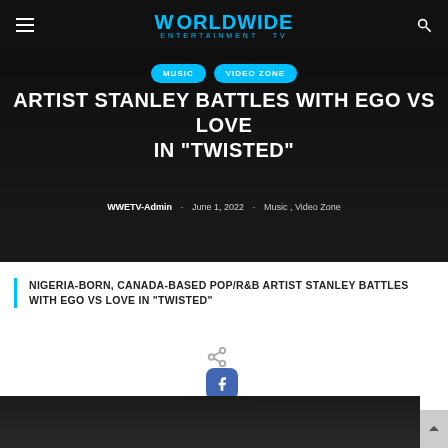WORLDWIDE ENTERTAINMENT TV
MUSIC
VIDEO ZONE
ARTIST STANLEY BATTLES WITH EGO VS LOVE IN "TWISTED"
WWETV-Admin - June 1, 2022 - Music , Video Zone
NIGERIA-BORN, CANADA-BASED POP/R&B ARTIST STANLEY BATTLES WITH EGO VS LOVE IN "TWISTED"
[Figure (screenshot): Social share buttons row: Facebook, Twitter, Google+, Pinterest, LinkedIn, Tumblr, Reddit, VK, Email]
[Figure (photo): Dark background image at bottom of page, partial view]